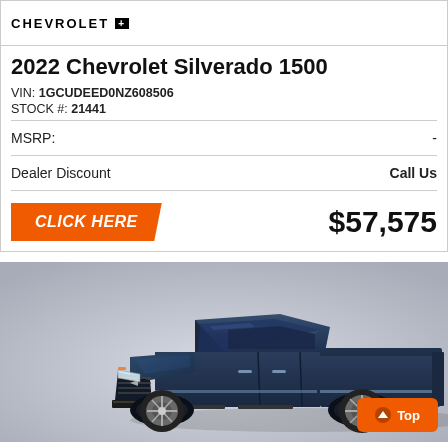[Figure (logo): Chevrolet logo with brand name in bold uppercase letters and a plus symbol badge]
2022 Chevrolet Silverado 1500
VIN: 1GCUDEED0NZ608506
STOCK #: 21441
| MSRP: | - |
| Dealer Discount | Call Us |
CLICK HERE  $57,575
[Figure (photo): 2022 Chevrolet Silverado 1500 dark navy blue truck on a grey gradient background, three-quarter front view]